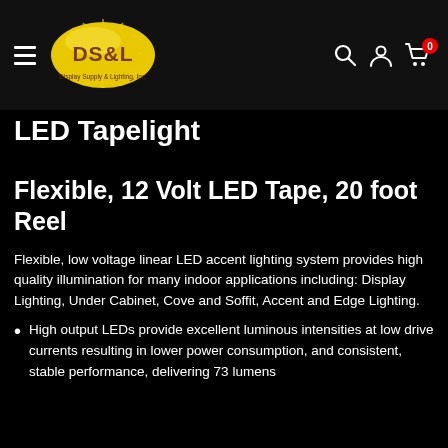DS&L Display Supply & Lighting, Inc. — navigation header with search, account, and cart icons
LED Tapelight
Flexible, 12 Volt LED Tape, 20 foot Reel
Flexible, low voltage linear LED accent lighting system provides high quality illumination for many indoor applications including: Display Lighting, Under Cabinet, Cove and Soffit, Accent and Edge Lighting.
High output LEDs provide excellent luminous intensities at low drive currents resulting in lower power consumption, and consistent, stable performance, delivering 73 lumens